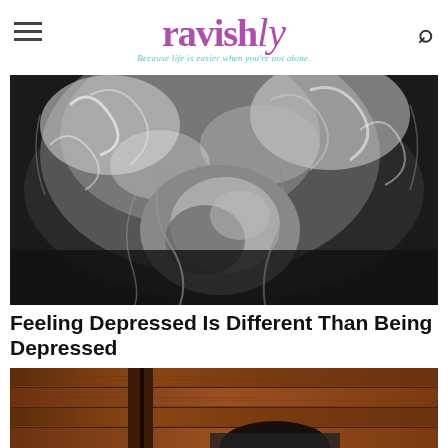ravishly — Because life is easier when you're not alone.
[Figure (photo): Black and white close-up photo of a woman with curly hair, looking downward or away from camera]
Feeling Depressed Is Different Than Being Depressed
[Figure (photo): Color photo of a person sitting in front of a wooden panel wall, partially visible, cropped at bottom of page]